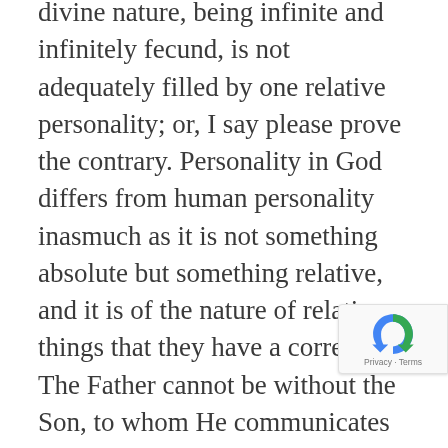divine nature, being infinite and infinitely fecund, is not adequately filled by one relative personality; or, I say please prove the contrary. Personality in God differs from human personality inasmuch as it is not something absolute but something relative, and it is of the nature of relative things that they have a correlative. The Father cannot be without the Son, to whom He communicates His nature, not by causality but by the principle of origin.
Garrigou-Lagrange OP, Reginald. The Trinity and God the Creator.
End Quote 17